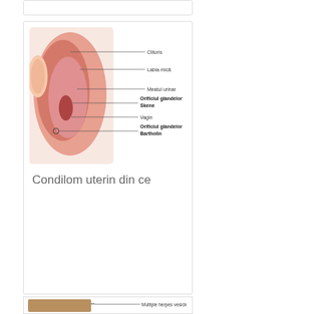[Figure (illustration): Top card — partially visible, empty white card at top]
[Figure (engineering-diagram): Anatomical diagram of female external genitalia with labeled structures: Clitoris, Labia mica, Meatul urinar, Orificiul glandelor Skene, Vagin, Orificiul glandelor Bartholin]
Condilom uterin din ce
[Figure (photo): Medical photo showing herpes vesicles with label: Multiple herpes vesicles]